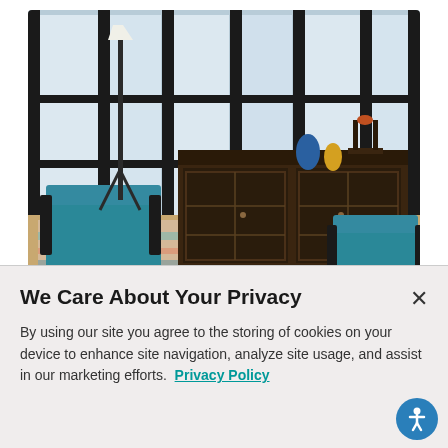[Figure (photo): Interior room scene showing two teal/blue leather accent chairs with black metal frames, a dark wood sideboard/cabinet with glass-paned doors, a floor lamp with white shade, and colorful decorative objects on a patterned rug, with large black-framed windows in background.]
Accent Furniture
We Care About Your Privacy
By using our site you agree to the storing of cookies on your device to enhance site navigation, analyze site usage, and assist in our marketing efforts.  Privacy Policy